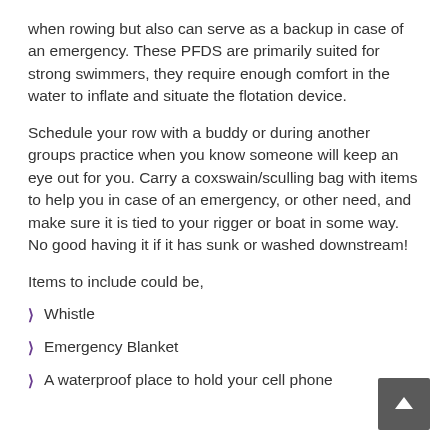when rowing but also can serve as a backup in case of an emergency. These PFDS are primarily suited for strong swimmers, they require enough comfort in the water to inflate and situate the flotation device.
Schedule your row with a buddy or during another groups practice when you know someone will keep an eye out for you. Carry a coxswain/sculling bag with items to help you in case of an emergency, or other need, and make sure it is tied to your rigger or boat in some way. No good having it if it has sunk or washed downstream!
Items to include could be,
Whistle
Emergency Blanket
A waterproof place to hold your cell phone